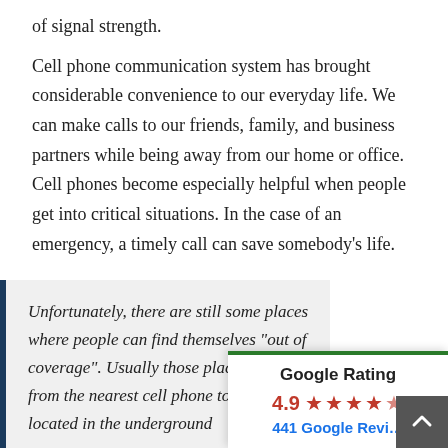of signal strength.
Cell phone communication system has brought considerable convenience to our everyday life. We can make calls to our friends, family, and business partners while being away from our home or office. Cell phones become especially helpful when people get into critical situations. In the case of an emergency, a timely call can save somebody's life.
Unfortunately, there are still some places where people can find them... "out of coverage". Usually those p... far from the nearest cell ph... located in the underground...
[Figure (other): Google Rating overlay widget showing 4.9 stars (red stars) and 441 Google Reviews in blue text, with a green top border and a gray scroll-up button in the bottom right.]